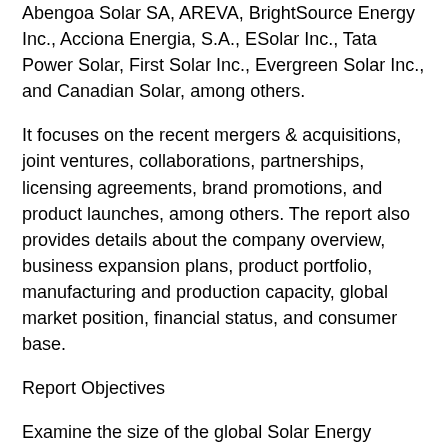Abengoa Solar SA, AREVA, BrightSource Energy Inc., Acciona Energia, S.A., ESolar Inc., Tata Power Solar, First Solar Inc., Evergreen Solar Inc., and Canadian Solar, among others.
It focuses on the recent mergers & acquisitions, joint ventures, collaborations, partnerships, licensing agreements, brand promotions, and product launches, among others. The report also provides details about the company overview, business expansion plans, product portfolio, manufacturing and production capacity, global market position, financial status, and consumer base.
Report Objectives
Examine the size of the global Solar Energy market based on the parameters of value and volume.
Extensively profile top players of the global Solar Energy